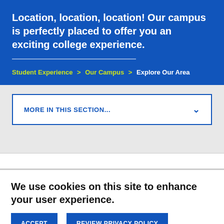Location, location, location! Our campus is perfectly placed to offer you an exciting college experience.
Student Experience > Our Campus > Explore Our Area
MORE IN THIS SECTION...
We use cookies on this site to enhance your user experience.
ACCEPT
REVIEW PRIVACY POLICY